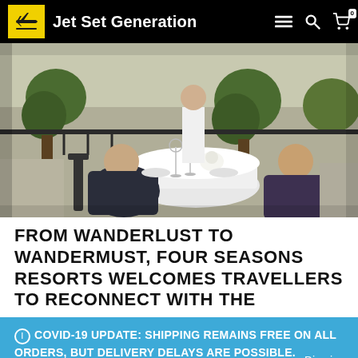Jet Set Generation
[Figure (photo): Outdoor restaurant terrace scene with a couple dining at a white-clothed round table, a waiter in white uniform, green topiary plants, and city rooftops in the background.]
FROM WANDERLUST TO WANDERMUST, FOUR SEASONS RESORTS WELCOMES TRAVELLERS TO RECONNECT WITH THE
ⓘ COVID-19 UPDATE: SHIPPING REMAINS FREE ON ALL ORDERS, BUT DELIVERY DELAYS ARE POSSIBLE.
Dismiss
🇨🇦 English